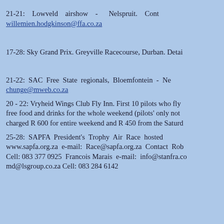21-21: Lowveld airshow - Nelspruit. Cont willemien.hodgkinson@ffa.co.za
17-28: Sky Grand Prix. Greyville Racecourse, Durban. Detai
21-22: SAC Free State regionals, Bloemfontein - Ne chunge@mweb.co.za
20 - 22: Vryheid Wings Club Fly Inn. First 10 pilots who fly free food and drinks for the whole weekend (pilots' only not charged R 600 for entire weekend and R 450 from the Saturd
25-28: SAPFA President's Trophy Air Race hosted www.sapfa.org.za e-mail: Race@sapfa.org.za Contact Rob Cell: 083 377 0925 Francois Marais e-mail: info@stanfra.co md@lsgroup.co.za Cell: 083 284 6142